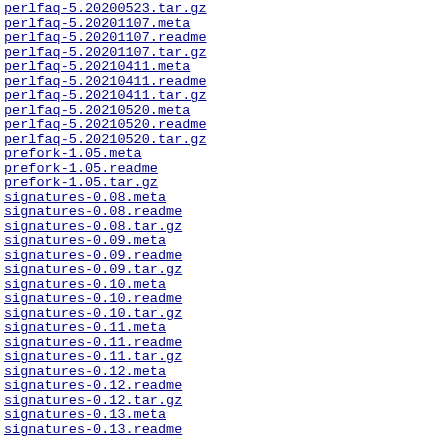perlfaq-5.20200523.tar.gz  22-May
perlfaq-5.20201107.meta  07-Nov
perlfaq-5.20201107.readme  07-Nov
perlfaq-5.20201107.tar.gz  07-Nov
perlfaq-5.20210411.meta  11-Apr
perlfaq-5.20210411.readme  11-Apr
perlfaq-5.20210411.tar.gz  11-Apr
perlfaq-5.20210520.meta  20-May
perlfaq-5.20210520.readme  20-May
perlfaq-5.20210520.tar.gz  20-May
prefork-1.05.meta  27-Oct
prefork-1.05.readme  27-Oct
prefork-1.05.tar.gz  27-Oct
signatures-0.08.meta  24-May
signatures-0.08.readme  24-May
signatures-0.08.tar.gz  24-May
signatures-0.09.meta  25-May
signatures-0.09.readme  25-May
signatures-0.09.tar.gz  25-May
signatures-0.10.meta  22-Dec
signatures-0.10.readme  22-Dec
signatures-0.10.tar.gz  22-Dec
signatures-0.11.meta  03-Jan
signatures-0.11.readme  03-Jan
signatures-0.11.tar.gz  03-Jan
signatures-0.12.meta  13-May
signatures-0.12.readme  13-May
signatures-0.12.tar.gz  13-May
signatures-0.13.meta  28-Jul
signatures-0.13.readme  28-Jul